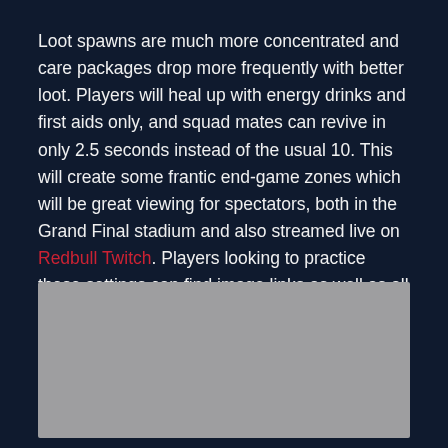Loot spawns are much more concentrated and care packages drop more frequently with better loot. Players will heal up with energy drinks and first aids only, and squad mates can revive in only 2.5 seconds instead of the usual 10. This will create some frantic end-game zones which will be great viewing for spectators, both in the Grand Final stadium and also streamed live on Redbull Twitch. Players looking to practice these settings can find image links as well as all the tournament rules on the Red Bull Fight or Flight website.
[Figure (photo): Gray placeholder image area, no visible content]